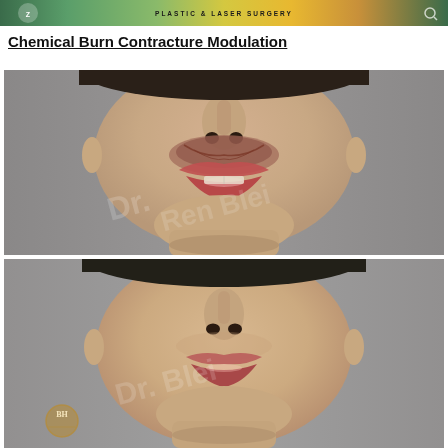[Figure (illustration): Top banner with clinic logo and text 'PLASTIC & LASER SURGERY' on decorative green/yellow background]
Chemical Burn Contracture Modulation
[Figure (photo): Before photo: close-up frontal view of patient's lower face showing chemical burn contracture around lips and perioral area, with scarring and tissue distortion above upper lip]
[Figure (photo): After photo: close-up frontal view of same patient's lower face post-treatment showing improved perioral appearance with reduced contracture, lips appear more natural and symmetric, BH clinic watermark visible]